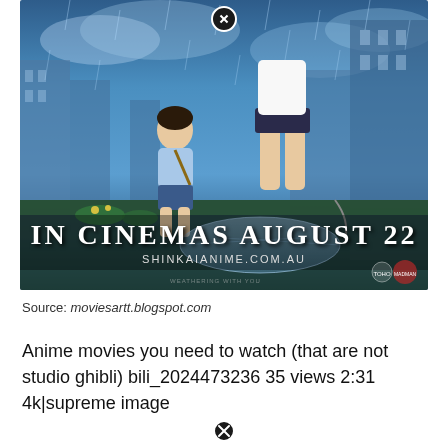[Figure (illustration): Anime movie promotional poster for 'Weathering With You' showing two characters on a rooftop in rain with a cityscape background. Text reads 'IN CINEMAS AUGUST 22' and 'SHINKAIANIME.COM.AU'. A close/X button appears at the top center of the image.]
Source: moviesartt.blogspot.com
Anime movies you need to watch (that are not studio ghibli) bili_2024473236 35 views 2:31 4k|supreme image